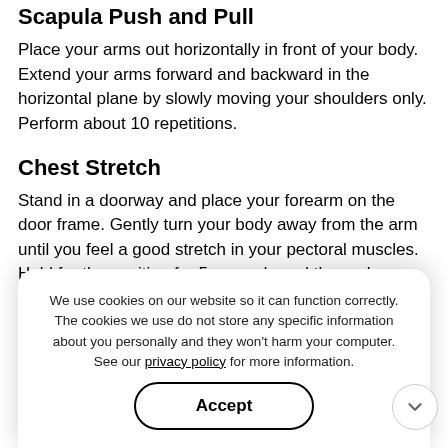Scapula Push and Pull
Place your arms out horizontally in front of your body. Extend your arms forward and backward in the horizontal plane by slowly moving your shoulders only. Perform about 10 repetitions.
Chest Stretch
Stand in a doorway and place your forearm on the door frame. Gently turn your body away from the arm until you feel a good stretch in your pectoral muscles. Hold for the position for 5 seconds and then relax. Perform about 10 repetitions.
Front Shoulder Stretch
Stand in a doorway and hold the top of the door frame with one arm. Slowly move forward until you feel a stretch in the front shoulder region. Hold for the position for 5 seconds and then relax. Perform about 10 repetitions.
We use cookies on our website so it can function correctly. The cookies we use do not store any specific information about you personally and they won't harm your computer. See our privacy policy for more information.